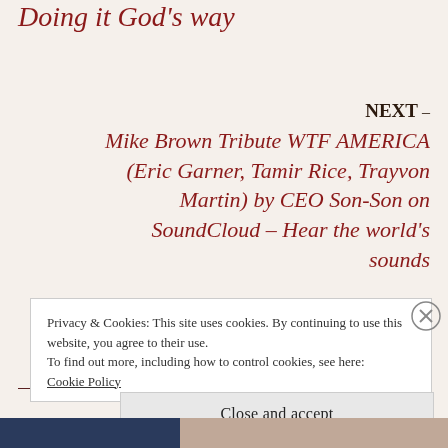Doing it God's way
NEXT – Mike Brown Tribute WTF AMERICA (Eric Garner, Tamir Rice, Trayvon Martin) by CEO Son-Son on SoundCloud – Hear the world's sounds
Privacy & Cookies: This site uses cookies. By continuing to use this website, you agree to their use. To find out more, including how to control cookies, see here: Cookie Policy
Close and accept